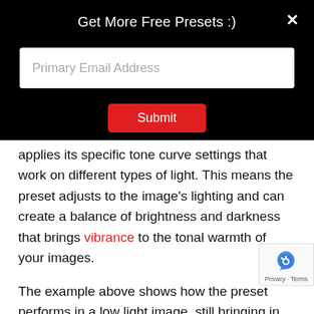Get More Free Presets :)
Primary Email Address
Submit
applies its specific tone curve settings that work on different types of light. This means the preset adjusts to the image's lighting and can create a balance of brightness and darkness that brings vibrance to the tonal warmth of your images.
The example above shows how the preset performs in a low light image, still bringing in the subtle details to life with its tone curve settings and color mixture. With effects such as vignetting and color mixing, the pre brings out a nostalgic cinematic effect to the overall